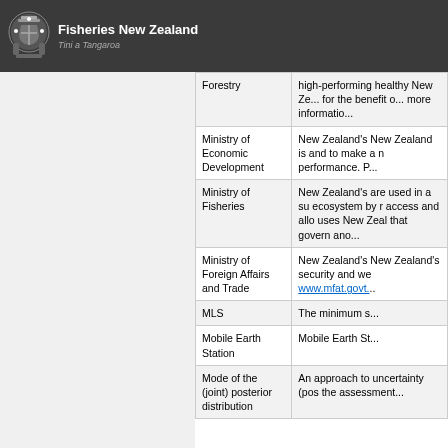Fisheries New Zealand | Tini a Tangaroa
| Term | Description |
| --- | --- |
| Forestry | high-performing healthy New Ze... for the benefit o... more informatio... |
| Ministry of Economic Development | New Zealand's New Zealand is and to make a n performance.  P... |
| Ministry of Fisheries | New Zealand's are used in a su ecosystem by r access and allo uses New Zeal that govern ano... |
| Ministry of Foreign Affairs and Trade | New Zealand's New Zealand's security and we www.mfat.govt.... |
| MLS | The minimum s... |
| Mobile Earth Station | Mobile Earth St... |
| Mode of the (joint) posterior distribution | An approach to uncertainty (pos the assessment... |